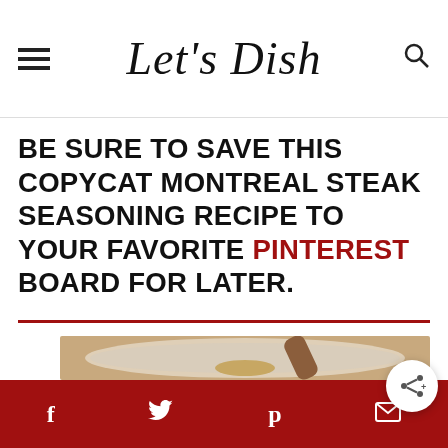Let's Dish
BE SURE TO SAVE THIS COPYCAT MONTREAL STEAK SEASONING RECIPE TO YOUR FAVORITE PINTEREST BOARD FOR LATER.
[Figure (photo): Glass jar with wooden spoon containing spice mixture (Montreal steak seasoning), viewed from above on a wooden surface.]
Social share icons: Facebook, Twitter, Pinterest, Email, Share